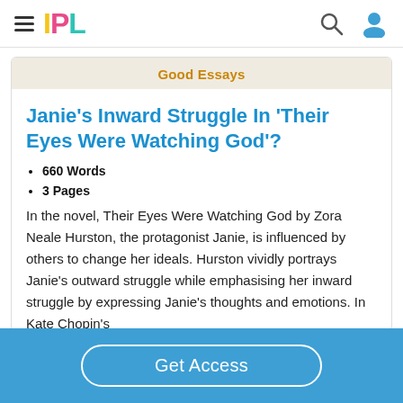IPL
Good Essays
Janie's Inward Struggle In 'Their Eyes Were Watching God'?
660 Words
3 Pages
In the novel, Their Eyes Were Watching God by Zora Neale Hurston, the protagonist Janie, is influenced by others to change her ideals. Hurston vividly portrays Janie's outward struggle while emphasising her inward struggle by expressing Janie's thoughts and emotions. In Kate Chopin's
Get Access